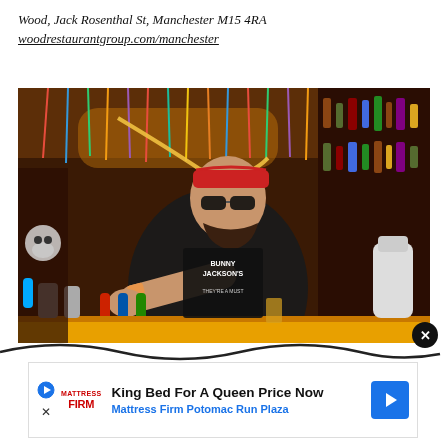Wood, Jack Rosenthal St, Manchester M15 4RA
woodrestaurantgroup.com/manchester
[Figure (photo): Bartender wearing a black t-shirt and red bandana headband, leaning forward behind a busy bar decorated with colorful streamers, reaching toward the beer taps. Background shows shelves full of bottles and bar decorations.]
[Figure (other): Advertisement banner: King Bed For A Queen Price Now - Mattress Firm Potomac Run Plaza, with Mattress Firm logo, play/close icons, and blue arrow navigation button.]